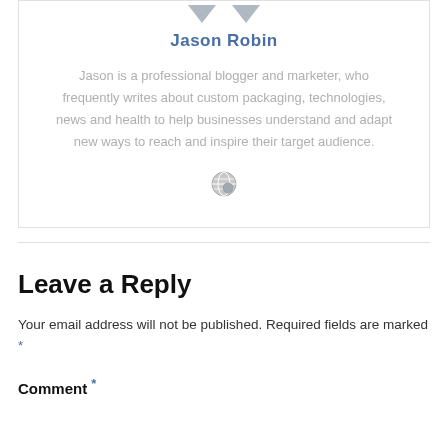[Figure (illustration): Two downward-pointing triangle arrows (decorative navigation icons) at the top of the author card]
Jason Robin
Jason is a professional blogger and marketer, who frequently writes about custom packaging, technologies, news and health to help businesses understand and adapt new ways to reach and inspire their target audience.
[Figure (illustration): A small globe/world icon]
Leave a Reply
Your email address will not be published. Required fields are marked *
Comment *